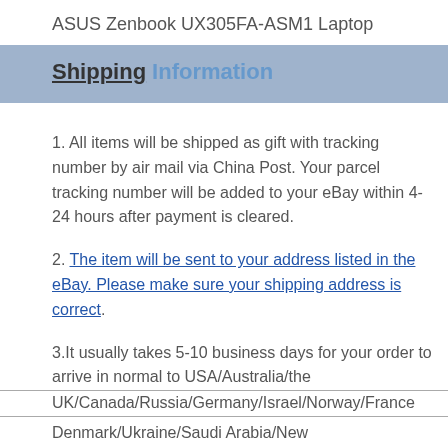ASUS Zenbook UX305FA-ASM1 Laptop
Shipping Information
1. All items will be shipped as gift with tracking number by air mail via China Post. Your parcel tracking number will be added to your eBay within 4-24 hours after payment is cleared.
2. The item will be sent to your address listed in the eBay. Please make sure your shipping address is correct.
3.It usually takes 5-10 business days for your order to arrive in normal to USA/Australia/the UK/Canada/Russia/Germany/Israel/Norway/France Denmark/Ukraine/Saudi Arabia/New